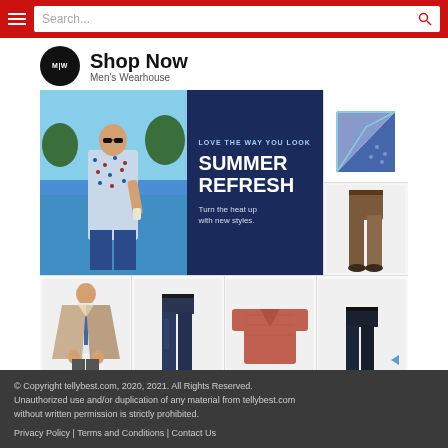Search...
[Figure (screenshot): Men's Wearhouse ad: logo, Shop Now title, summer refresh banner, clothing product images]
© Copyright tellybest.com, 2020, 2021. All Rights Reserved. Unauthorized use and/or duplication of any material from tellybest.com without written permission is strictly prohibited. Privacy Policy | Terms and Conditions | Contact Us